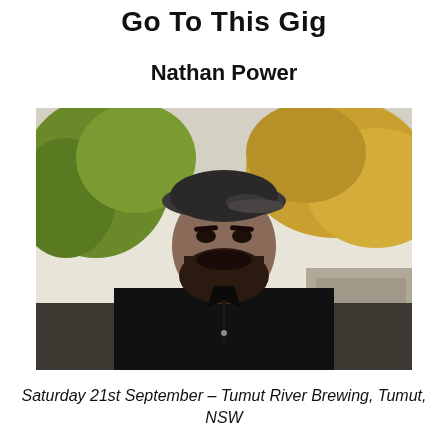Go To This Gig
Nathan Power
[Figure (photo): Outdoor portrait of a man with a dark beard wearing a black flat cap and black shirt, standing against a blurred background of green and yellow-orange foliage and stone structures.]
Saturday 21st September – Tumut River Brewing, Tumut, NSW